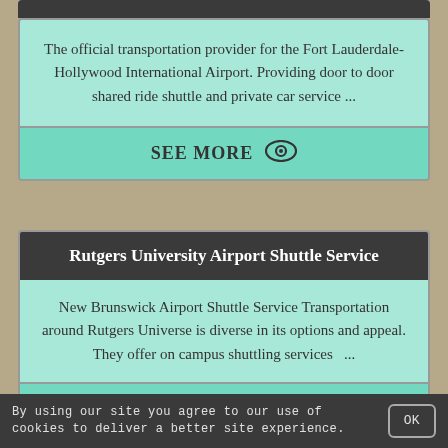The official transportation provider for the Fort Lauderdale-Hollywood International Airport. Providing door to door shared ride shuttle and private car service ...
SEE MORE
Rutgers University Airport Shuttle Service
New Brunswick Airport Shuttle Service Transportation around Rutgers Universe is diverse in its options and appeal. They offer on campus shuttling services ...
SEE MORE
By using our site you agree to our use of cookies to deliver a better site experience.